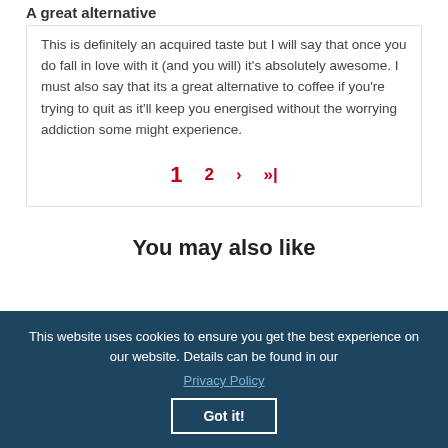A great alternative
This is definitely an acquired taste but I will say that once you do fall in love with it (and you will) it's absolutely awesome. I must also say that its a great alternative to coffee if you're trying to quit as it'll keep you energised without the worrying addiction some might experience.
1  2  >  >|
You may also like
This website uses cookies to ensure you get the best experience on our website. Details can be found in our Privacy Policy Got it!